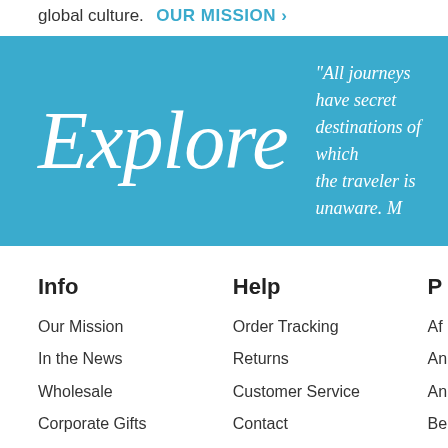global culture.  OUR MISSION ›
[Figure (illustration): Blue banner with cursive 'Explore' text and quote: 'All journeys have secret destinations of which the traveler is unaware.']
Info
Our Mission
In the News
Wholesale
Corporate Gifts
Affiliate Program
Microcredit
Help
Order Tracking
Returns
Customer Service
Contact
FAQ
Loyalty Program